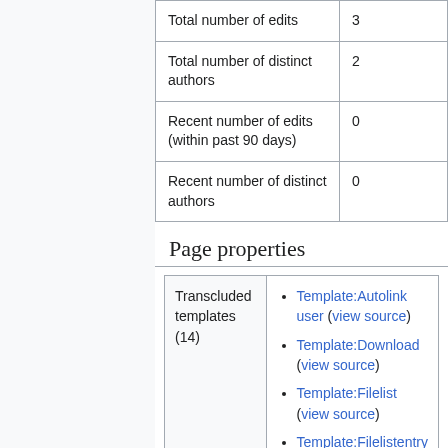|  |  |
| --- | --- |
| Total number of edits | 3 |
| Total number of distinct authors | 2 |
| Recent number of edits (within past 90 days) | 0 |
| Recent number of distinct authors | 0 |
Page properties
|  |  |
| --- | --- |
| Transcluded templates (14) | Template:Autolink user (view source)
Template:Download (view source)
Template:Filelist (view source)
Template:Filelistentry |